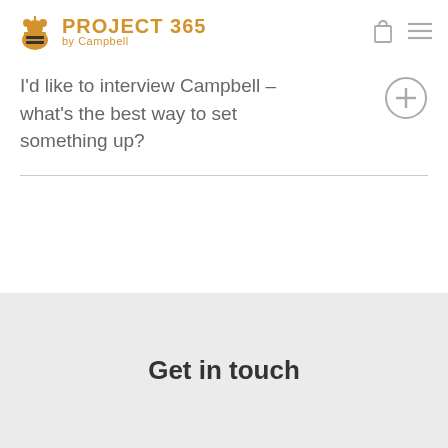PROJECT 365 by Campbell
I'd like to interview Campbell – what's the best way to set something up?
Get in touch